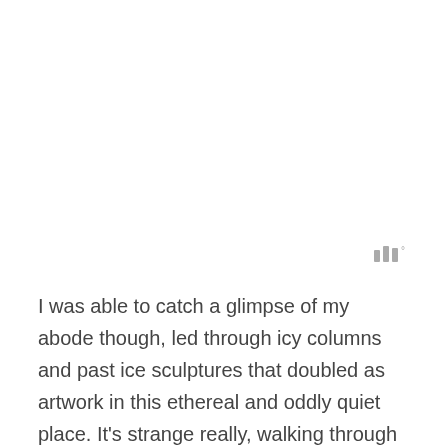[Figure (other): Small gray icon resembling three vertical bars with a degree symbol, positioned in the upper-right area of the lower half of the page]
I was able to catch a glimpse of my abode though, led through icy columns and past ice sculptures that doubled as artwork in this ethereal and oddly quiet place. It’s strange really, walking through a structure made entirely of ice. The temperature inside is kept between minus 4-7 degrees Celsius, in order to